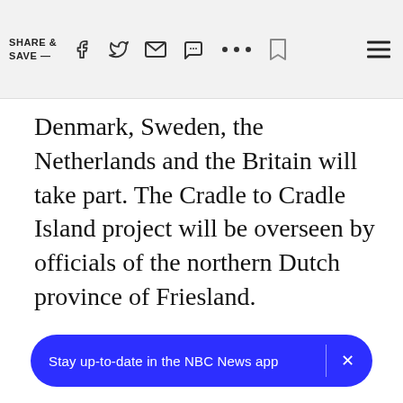SHARE & SAVE —
Denmark, Sweden, the Netherlands and the Britain will take part. The Cradle to Cradle Island project will be overseen by officials of the northern Dutch province of Friesland.
Stay up-to-date in the NBC News app